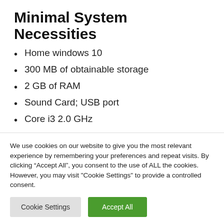Minimal System Necessities
Home windows 10
300 MB of obtainable storage
2 GB of RAM
Sound Card; USB port
Core i3 2.0 GHz
Really helpful System Necessities
We use cookies on our website to give you the most relevant experience by remembering your preferences and repeat visits. By clicking “Accept All”, you consent to the use of ALL the cookies. However, you may visit "Cookie Settings" to provide a controlled consent.